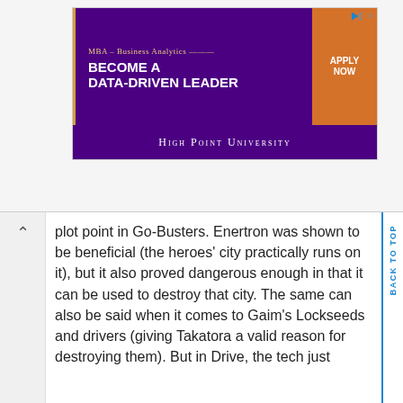[Figure (other): Advertisement banner for High Point University MBA – Business Analytics program. Purple background with 'BECOME A DATA-DRIVEN LEADER' text and orange 'APPLY NOW' button. 'HIGH POINT UNIVERSITY' text at bottom.]
plot point in Go-Busters. Enertron was shown to be beneficial (the heroes' city practically runs on it), but it also proved dangerous enough in that it can be used to destroy that city. The same can also be said when it comes to Gaim's Lockseeds and drivers (giving Takatora a valid reason for destroying them). But in Drive, the tech just